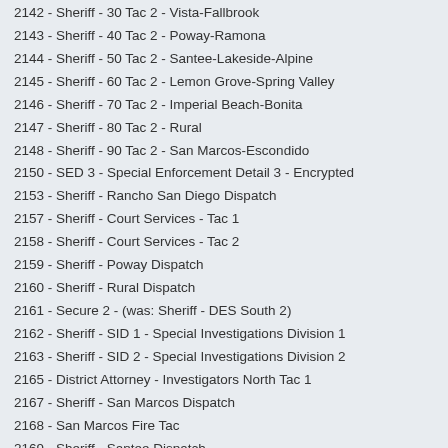2142 - Sheriff - 30 Tac 2 - Vista-Fallbrook
2143 - Sheriff - 40 Tac 2 - Poway-Ramona
2144 - Sheriff - 50 Tac 2 - Santee-Lakeside-Alpine
2145 - Sheriff - 60 Tac 2 - Lemon Grove-Spring Valley
2146 - Sheriff - 70 Tac 2 - Imperial Beach-Bonita
2147 - Sheriff - 80 Tac 2 - Rural
2148 - Sheriff - 90 Tac 2 - San Marcos-Escondido
2150 - SED 3 - Special Enforcement Detail 3 - Encrypted
2153 - Sheriff - Rancho San Diego Dispatch
2157 - Sheriff - Court Services - Tac 1
2158 - Sheriff - Court Services - Tac 2
2159 - Sheriff - Poway Dispatch
2160 - Sheriff - Rural Dispatch
2161 - Secure 2 - (was: Sheriff - DES South 2)
2162 - Sheriff - SID 1 - Special Investigations Division 1
2163 - Sheriff - SID 2 - Special Investigations Division 2
2165 - District Attorney - Investigators North Tac 1
2167 - Sheriff - San Marcos Dispatch
2168 - San Marcos Fire Tac
2169 - Sheriff - Santee Dispatch
2171 - Solana Beach Fire Tac
2172 - Sheriff - SID 3 - Special Investigations Division 3
2173 - Sheriff - SID 4 - Special Investigations Division 4
2174 - Sheriff - SID 5 - Special Investigations Division 5
2180 - Sheriff - 20 Tac 1 - North Coast